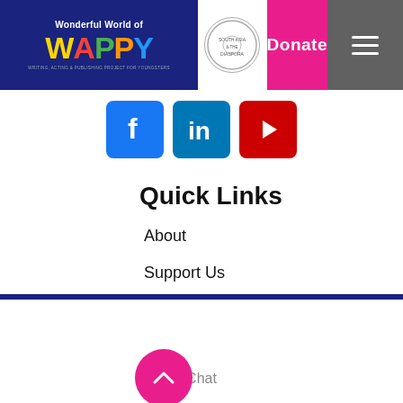Wonderful World of WAPPY | Donate | Menu
[Figure (logo): Wonderful World of WAPPY logo on dark blue background with colorful letters]
[Figure (logo): Circular emblem/seal logo]
[Figure (infographic): Social media icons: Facebook, LinkedIn, YouTube]
Quick Links
About
Support Us
News
Events
Contact
Chat